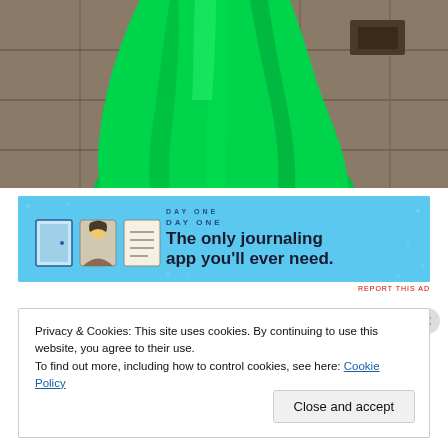[Figure (photo): Bottom portion of a bright green flowing dress/gown trailing on stone pavement. The fabric is vivid emerald green draped on grey stone tiles.]
[Figure (screenshot): Advertisement banner for Day One journaling app. Light blue background with app icons (door, person, notepad) and text 'DAY ONE - The only journaling app you'll ever need.']
REPORT THIS AD
Privacy & Cookies: This site uses cookies. By continuing to use this website, you agree to their use.
To find out more, including how to control cookies, see here: Cookie Policy
Close and accept